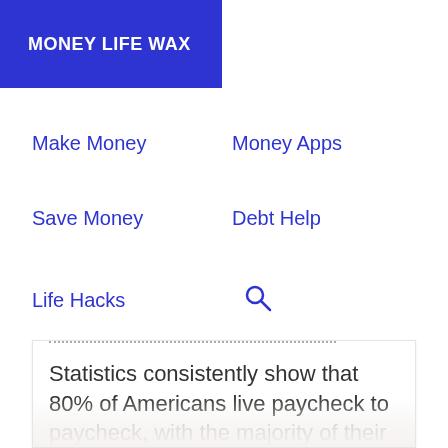MONEY LIFE WAX
Make Money
Money Apps
Save Money
Debt Help
Life Hacks
Statistics consistently show that 80% of Americans live paycheck to paycheck, with the majority of their